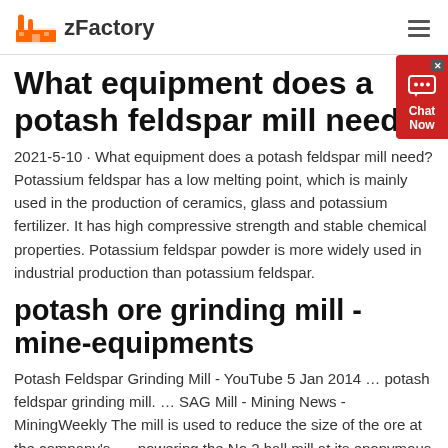zFactory
What equipment does a potash feldspar mill need?
2021-5-10 · What equipment does a potash feldspar mill need? Potassium feldspar has a low melting point, which is mainly used in the production of ceramics, glass and potassium fertilizer. It has high compressive strength and stable chemical properties. Potassium feldspar powder is more widely used in industrial production than potassium feldspar.
potash ore grinding mill - mine-equipments
Potash Feldspar Grinding Mill - YouTube 5 Jan 2014 ... potash feldspar grinding mill. ... SAG Mill - Mining News - MiningWeekly The mill is used to reduce the size of the ore at the company's. ... powering the No 2 ball mill at its eponymous mine had failed. ...